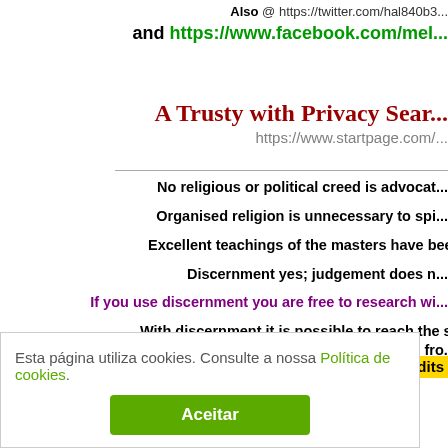Also @ https://twitter.com/hal840b3...
and https://www.facebook.com/mel...
A Trusty with Privacy Sear...
https://www.startpage.com/...
No religious or political creed is advocat...
Organised religion is unnecessary to spi...
Excellent teachings of the masters have been contaminated by the c...
Discernment yes; judgement does n...
If you use discernment you are free to research wi...
With discernment it is possible to reach the spirit of the letter of any... listen to the voice of the soul that comes fro...
Individually you can be helped to find your Truth that is...
Please respect all credits
Esta página utiliza cookies. Consulte a nossa Política de cookies.
Aceitar
All articles are of the respective authors and/or pu...